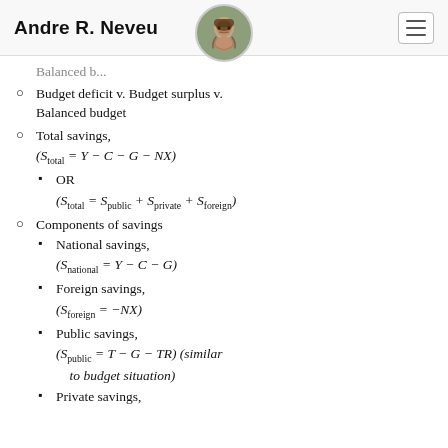Andre R. Neveu
Budget deficit v. Budget surplus v. Balanced budget
Total savings, (S_total = Y − C − G − NX)
OR (S_total = S_public + S_private + S_foreign)
Components of savings
National savings, (S_national = Y − C − G)
Foreign savings, (S_foreign = −NX)
Public savings, (S_public = T − G − TR) (similar to budget situation)
Private savings,